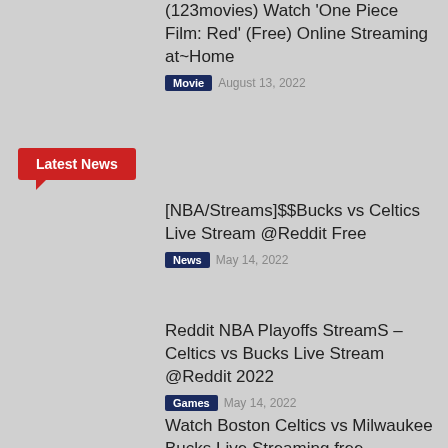(123movies) Watch 'One Piece Film: Red' (Free) Online Streaming at~Home
Movie  August 13, 2022
Latest News
[NBA/Streams]$$Bucks vs Celtics Live Stream @Reddit Free
News  May 14, 2022
Reddit NBA Playoffs StreamS – Celtics vs Bucks Live Stream @Reddit 2022
Games  May 14, 2022
Watch Boston Celtics vs Milwaukee Bucks Live Streaming free